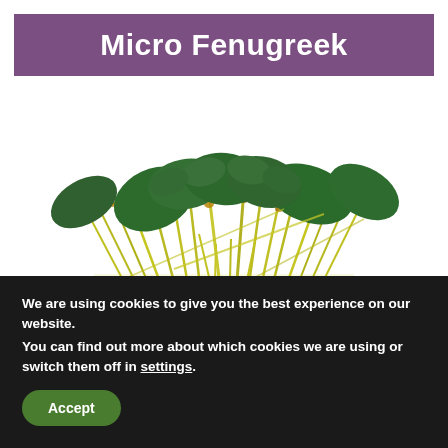Micro Fenugreek
[Figure (photo): Close-up photograph of micro fenugreek sprouts on a white background, showing green leaves and yellow-green stems with small seed casings attached]
We are using cookies to give you the best experience on our website.
You can find out more about which cookies we are using or switch them off in settings.
Accept